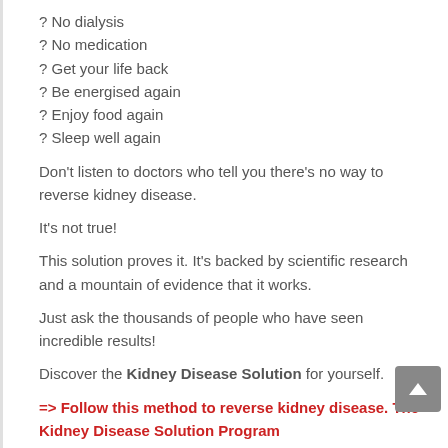? No dialysis
? No medication
? Get your life back
? Be energised again
? Enjoy food again
? Sleep well again
Don't listen to doctors who tell you there's no way to reverse kidney disease.
It's not true!
This solution proves it. It's backed by scientific research and a mountain of evidence that it works.
Just ask the thousands of people who have seen incredible results!
Discover the Kidney Disease Solution for yourself.
=> Follow this method to reverse kidney disease. The Kidney Disease Solution Program